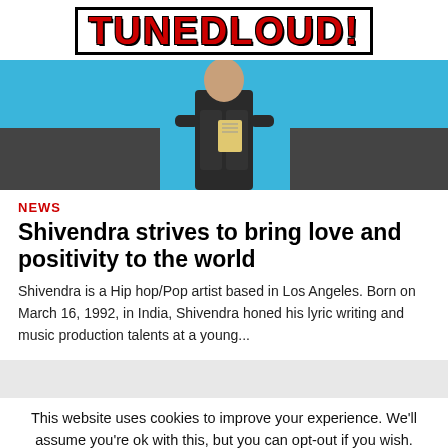TUNEDLOUD!
[Figure (photo): Hero image of a person in a leather jacket against a blue background]
NEWS
Shivendra strives to bring love and positivity to the world
Shivendra is a Hip hop/Pop artist based in Los Angeles. Born on March 16, 1992, in India, Shivendra honed his lyric writing and music production talents at a young...
This website uses cookies to improve your experience. We'll assume you're ok with this, but you can opt-out if you wish. Accept Reject Read More